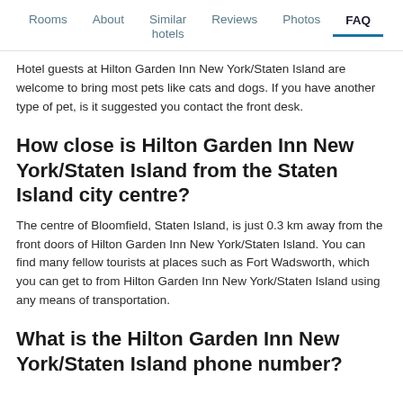Rooms | About | Similar hotels | Reviews | Photos | FAQ
Hotel guests at Hilton Garden Inn New York/Staten Island are welcome to bring most pets like cats and dogs. If you have another type of pet, is it suggested you contact the front desk.
How close is Hilton Garden Inn New York/Staten Island from the Staten Island city centre?
The centre of Bloomfield, Staten Island, is just 0.3 km away from the front doors of Hilton Garden Inn New York/Staten Island. You can find many fellow tourists at places such as Fort Wadsworth, which you can get to from Hilton Garden Inn New York/Staten Island using any means of transportation.
What is the Hilton Garden Inn New York/Staten Island phone number?